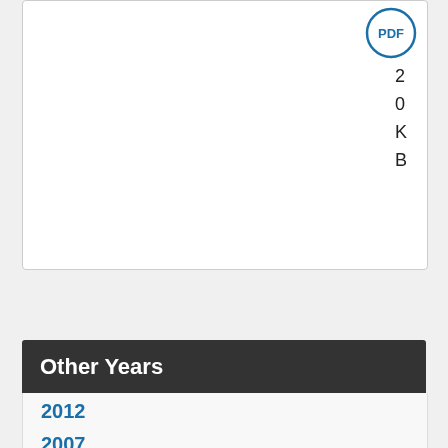[Figure (other): A white rounded box containing a PDF icon badge in the upper right corner with vertical text reading '2 0 K B' below it]
Other Years
2012
2007
2002
1997
1992
1987
1982